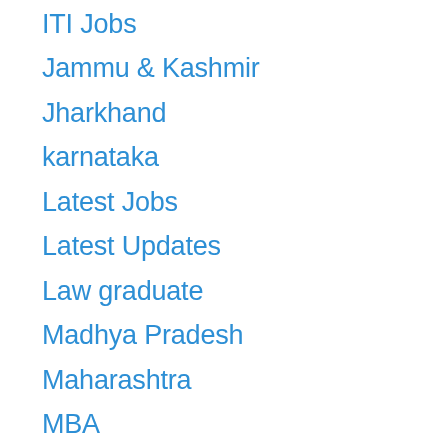ITI Jobs
Jammu & Kashmir
Jharkhand
karnataka
Latest Jobs
Latest Updates
Law graduate
Madhya Pradesh
Maharashtra
MBA
MBBS
Medical
Medical Jobs
Military Engineering Services
MS/MD/M.Ch